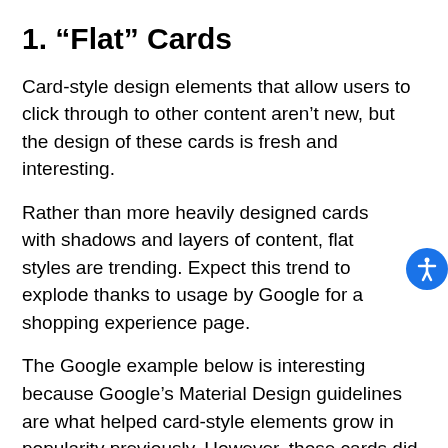1. “Flat” Cards
Card-style design elements that allow users to click through to other content aren’t new, but the design of these cards is fresh and interesting.
Rather than more heavily designed cards with shadows and layers of content, flat styles are trending. Expect this trend to explode thanks to usage by Google for a shopping experience page.
The Google example below is interesting because Google’s Material Design guidelines are what helped card-style elements grow in popularity previously. However, those cards did include more layers, color